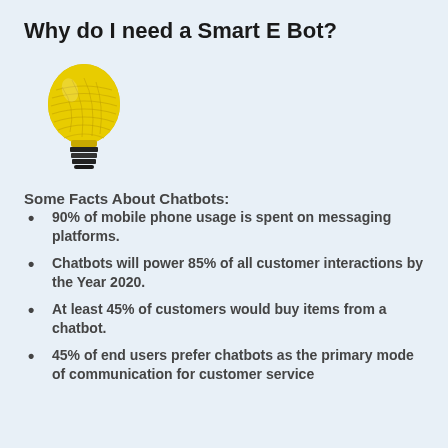Why do I need a Smart E Bot?
[Figure (illustration): Yellow light bulb illustration with hand-drawn scribble texture on the bulb and dark coil at the base]
Some Facts About Chatbots:
90% of mobile phone usage is spent on messaging platforms.
Chatbots will power 85% of all customer interactions by the Year 2020.
At least 45% of customers would buy items from a chatbot.
45% of end users prefer chatbots as the primary mode of communication for customer service